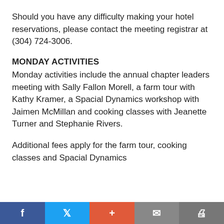Should you have any difficulty making your hotel reservations, please contact the meeting registrar at (304) 724-3006.
MONDAY ACTIVITIES
Monday activities include the annual chapter leaders meeting with Sally Fallon Morell, a farm tour with Kathy Kramer, a Spacial Dynamics workshop with Jaimen McMillan and cooking classes with Jeanette Turner and Stephanie Rivers.
Additional fees apply for the farm tour, cooking classes and Spacial Dynamics